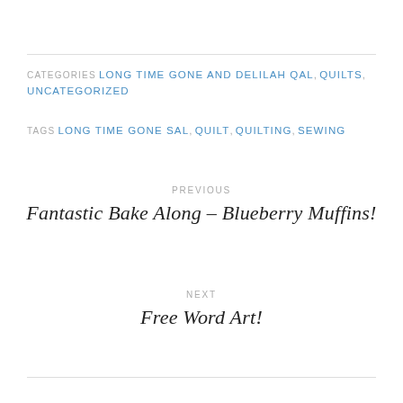CATEGORIES  LONG TIME GONE AND DELILAH QAL, QUILTS, UNCATEGORIZED
TAGS  LONG TIME GONE SAL, QUILT, QUILTING, SEWING
PREVIOUS
Fantastic Bake Along – Blueberry Muffins!
NEXT
Free Word Art!